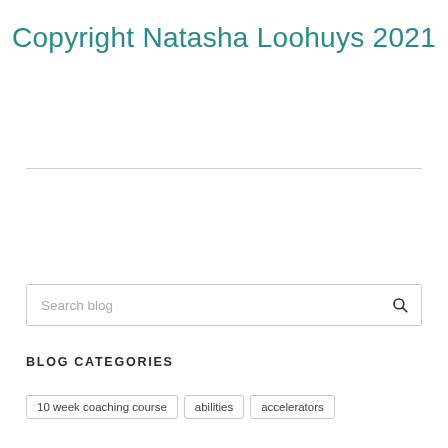Copyright Natasha Loohuys 2021
Search blog
BLOG CATEGORIES
10 week coaching course
abilities
accelerators